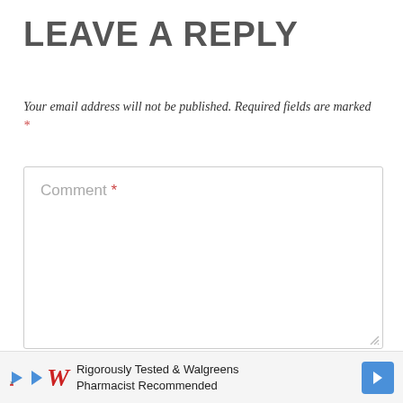LEAVE A REPLY
Your email address will not be published. Required fields are marked *
[Figure (screenshot): A comment textarea input box with placeholder text 'Comment *' and a resize handle in the bottom-right corner]
[Figure (infographic): Advertisement banner: Walgreens logo with text 'Rigorously Tested & Walgreens Pharmacist Recommended' and a blue navigation arrow icon]